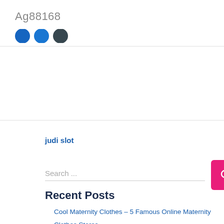Ag88168
[Figure (illustration): Three partially visible circular icon buttons in blue and dark grey colors]
judi slot
Search ...
Recent Posts
Cool Maternity Clothes – 5 Famous Online Maternity Clothes Stores